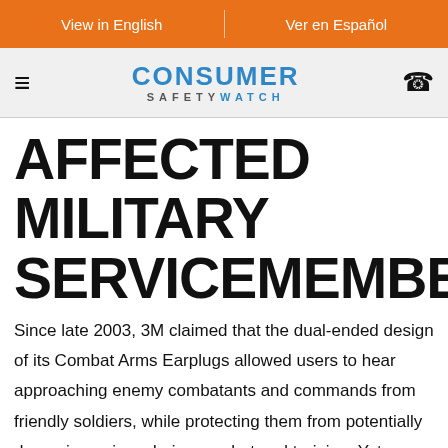View in English | Ver en Español
[Figure (logo): Consumer Safety Watch logo with hamburger menu icon on left and phone icon on right]
AFFECTED MILITARY SERVICEMEMBERS
Since late 2003, 3M claimed that the dual-ended design of its Combat Arms Earplugs allowed users to hear approaching enemy combatants and commands from friendly soldiers, while protecting them from potentially damaging noises during combat and training. Yet, internal documents show that 3M/Aearo knew as early